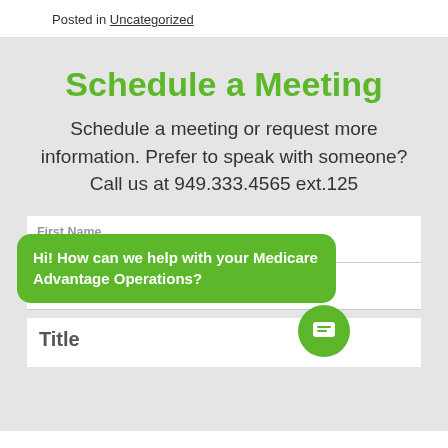Posted in Uncategorized
Schedule a Meeting
Schedule a meeting or request more information. Prefer to speak with someone? Call us at 949.333.4565 ext.125
First Name
Hi! How can we help with your Medicare Advantage Operations?
Last Name
Title